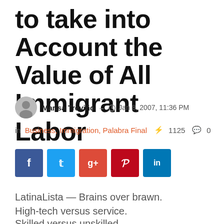to take into Account the Value of All Immigrant Labor
Marisa Treviño  –  Jan 8, 2007, 11:36 PM
in Business, Immigration, Palabra Final  ⚡ 1125  💬 0
[Figure (other): Social share buttons: Facebook, Twitter, Google+, Pinterest, LinkedIn]
LatinaLista — Brains over brawn.
High-tech versus service.
Skilled versus unskilled.